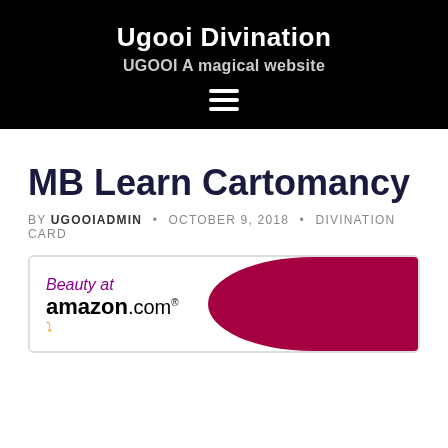Ugooi Divination
UGOOI A magical website
MB Learn Cartomancy
BY UGOOIADMIN • OCTOBER 9, 2018 • DIVINATION CARD
[Figure (other): Amazon.com advertisement banner with 'Beauty at amazon.com' text on left white section and a dark crimson/maroon curved panel on the right]